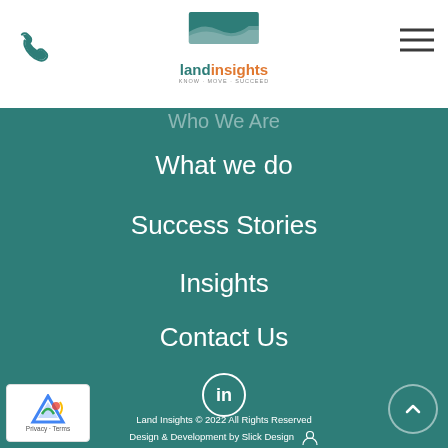Land Insights logo, phone icon, hamburger menu
Who We Are
What we do
Success Stories
Insights
Contact Us
[Figure (logo): LinkedIn circle icon]
Land Insights © 2022 All Rights Reserved
Design & Development by Slick Design
[Figure (logo): reCAPTCHA badge with logo and Privacy - Terms text]